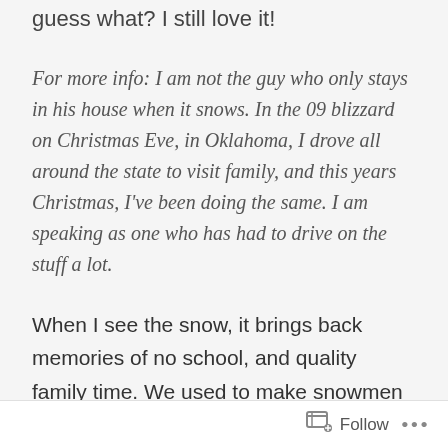guess what? I still love it!
For more info: I am not the guy who only stays in his house when it snows. In the 09 blizzard on Christmas Eve, in Oklahoma, I drove all around the state to visit family, and this years Christmas, I've been doing the same. I am speaking as one who has had to drive on the stuff a lot.
When I see the snow, it brings back memories of no school, and quality family time. We used to make snowmen and then decided that was way too lame and (with my dads help) constructed a massive igloo for us to play in. Good times! I also think about the secret recipe for snow ice cream. Man, that's good stuff!
And another thing, and it co...
Follow ...